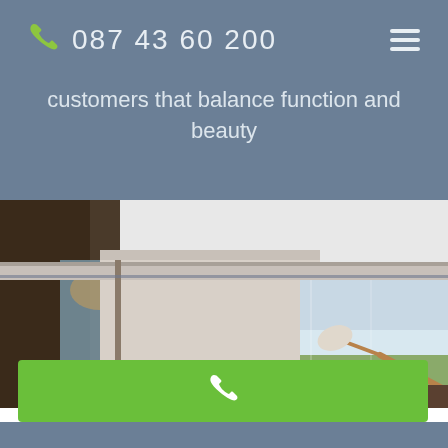087 43 60 200
customers that balance function and beauty
[Figure (photo): Interior room photo showing a modern living space with large sliding glass windows/doors opening to a landscape view, a desk lamp on a table, and interior lighting visible in the background.]
[Figure (other): Green call-to-action button with a white phone icon]